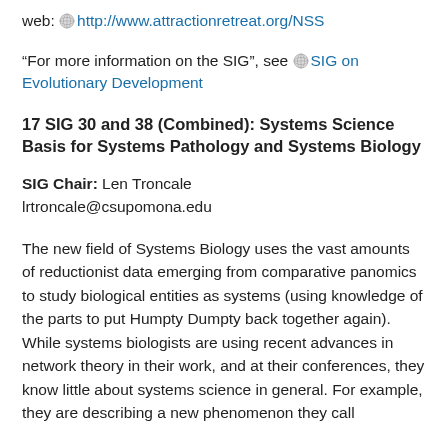web: http://www.attractionretreat.org/NSS
“For more information on the SIG”, see SIG on Evolutionary Development
17 SIG 30 and 38 (Combined): Systems Science Basis for Systems Pathology and Systems Biology
SIG Chair: Len Troncale
lrtroncale@csupomona.edu
The new field of Systems Biology uses the vast amounts of reductionist data emerging from comparative panomics to study biological entities as systems (using knowledge of the parts to put Humpty Dumpty back together again). While systems biologists are using recent advances in network theory in their work, and at their conferences, they know little about systems science in general. For example, they are describing a new phenomenon they call